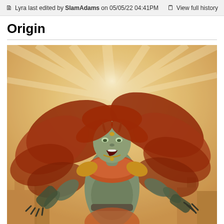Lyra last edited by SlamAdams on 05/05/22 04:41PM   View full history
Origin
[Figure (illustration): Fantasy illustration of a female alien/demon character with green skin, red flowing hair, small horns, wearing orange armor, set against a warm glowing background with city ruins silhouetted below]